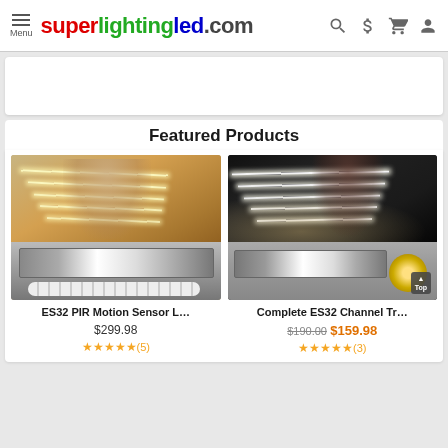superlightingled.com — Menu, Search, Price, Cart, Account icons
[Figure (screenshot): Banner/advertisement area, white background]
Featured Products
[Figure (photo): ES32 PIR Motion Sensor L... product photo showing LED staircase lighting kit with controller and sensors]
ES32 PIR Motion Sensor L...
$299.98
★★★★★(5)
[Figure (photo): Complete ES32 Channel Tr... product photo showing LED staircase with warm glow, controller and LED strip roll]
Complete ES32 Channel Tr...
$190.00 $159.98
★★★★★(3)